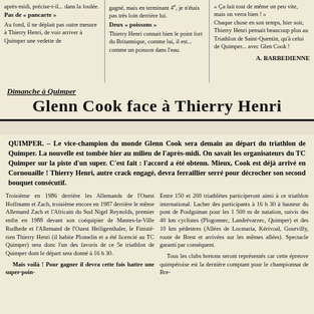après-midi, précise-t-il... dans la foulée.
Pas de « pancarte »
Au fond, il ne déplait pas outre mesure à Thierry Henri, de voir arriver à Quimper une vedette de
gagné, mais en terminant 4e, je n'étais pas très loin derrière lui.
Deux « poissons »
Thierry Henri connait bien le point fort du Britannique, comme lui, il est... comme un poisson dans l'eau.
« Ça fait tout de même un peu vite, mais on verra bien ! » Chaque chose en son temps, hier soir, Thierry Henri pensait beaucoup plus au Triathlon de Saint-Quentin, qu'à celui de Quimper... avec Glen Cook !
A. BARBEDIENNE
Dimanche à Quimper
Glenn Cook face à Thierry Henri
QUIMPER. – Le vice-champion du monde Glenn Cook sera demain au départ du triathlon de Quimper. La nouvelle est tombée hier au milieu de l'après-midi. On savait les organisateurs du TC Quimper sur la piste d'un super. C'est fait : l'accord a été obtenu. Mieux, Cook est déjà arrivé en Cornouaille ! Thierry Henri, autre crack engagé, devra ferraillier serré pour décrocher son second bouquet consécutif.
Troisième en 1986 derrière les Allemands de l'Ouest Hoffmann et Zach, troisième encore en 1987 derrière le même Allemand Zach et l'Africain du Sud Nigel Reynolds, premier enfin en 1988 devant son coéquipier de Mantes-la-Ville Rudhede et l'Allemand de l'Ouest Heiligenthaler, le Finistérien Thierry Henri (il habite Plomelin et a été licencié au TC Quimper) sera donc l'un des favoris de ce 5e triathlon de Quimper dont le départ sera donné à 16 h 30. Mais voilà ! Pour gagner il devra cette fois battre une super-poin-
Entre 150 et 200 triathlètes participeront ainsi à ce triathlon international. Lacher des participants à 16 h 30 à hauteur du pont de Poulguinan pour les 1 500 m de natation, suivis des 40 km cyclistes (Plogonnec, Landrévarzec, Quimper) et des 10 km pédestres (Allées de Locmaria, Kérivoal, Gourvilly, route de Brest et arrivées sur les mêmes allées). Spectacle garanti par conséquent. Tous les clubs bretons seront représentés car cette épreuve quimpéroise est la dernière comptant pour le championnat de Bre-